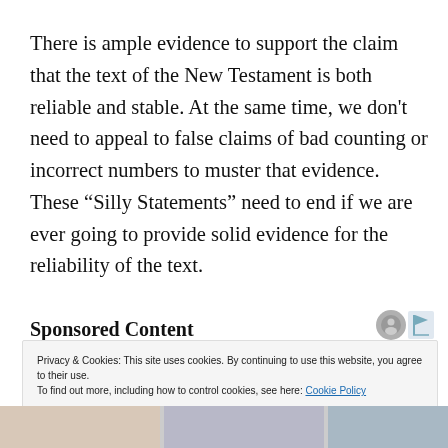There is ample evidence to support the claim that the text of the New Testament is both reliable and stable. At the same time, we don't need to appeal to false claims of bad counting or incorrect numbers to muster that evidence. These “Silly Statements” need to end if we are ever going to provide solid evidence for the reliability of the text.
Sponsored Content
Privacy & Cookies: This site uses cookies. By continuing to use this website, you agree to their use.
To find out more, including how to control cookies, see here: Cookie Policy
Close and accept